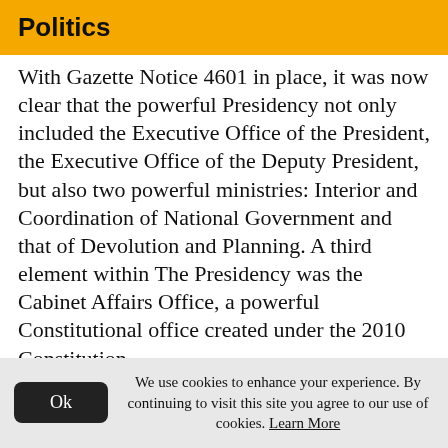Politics
With Gazette Notice 4601 in place, it was now clear that the powerful Presidency not only included the Executive Office of the President, the Executive Office of the Deputy President, but also two powerful ministries: Interior and Coordination of National Government and that of Devolution and Planning. A third element within The Presidency was the Cabinet Affairs Office, a powerful Constitutional office created under the 2010 Constitution.
President Kenyatta had appointed Francis
We use cookies to enhance your experience. By continuing to visit this site you agree to our use of cookies. Learn More